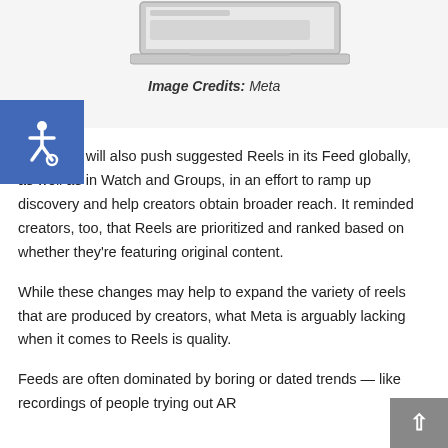[Figure (photo): Partial view of a laptop computer (MacBook-style) shown from the front, with a gray/silver border, positioned at the top of the image credit box area.]
Image Credits: Meta
[Figure (illustration): Blue square accessibility icon (wheelchair symbol in white) on the left side of the page.]
Facebook will also push suggested Reels in its Feed globally, as well as in Watch and Groups, in an effort to ramp up discovery and help creators obtain broader reach. It reminded creators, too, that Reels are prioritized and ranked based on whether they’re featuring original content.
While these changes may help to expand the variety of reels that are produced by creators, what Meta is arguably lacking when it comes to Reels is quality.
Feeds are often dominated by boring or dated trends — like recordings of people trying out AR